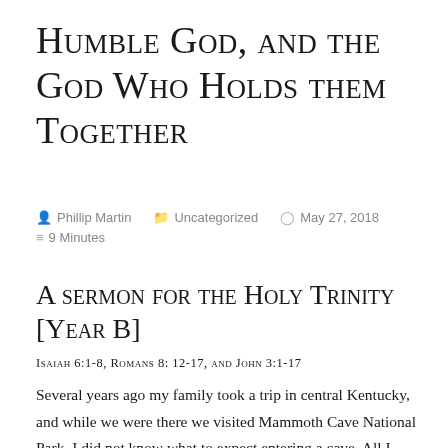Humble God, and the God Who Holds them Together
Phillip Martin   Uncategorized   May 27, 2018   9 Minutes
A sermon for the Holy Trinity [Year B]
Isaiah 6:1-8, Romans 8: 12-17, and John 3:1-17
Several years ago my family took a trip in central Kentucky, and while we were there we visited Mammoth Cave National Park. I did not know what to expect entering a cave. All I knew is that all the